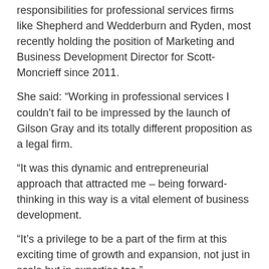responsibilities for professional services firms like Shepherd and Wedderburn and Ryden, most recently holding the position of Marketing and Business Development Director for Scott-Moncrieff since 2011.
She said: “Working in professional services I couldn’t fail to be impressed by the launch of Gilson Gray and its totally different proposition as a legal firm.
“It was this dynamic and entrepreneurial approach that attracted me – being forward-thinking in this way is a vital element of business development.
“It’s a privilege to be a part of the firm at this exciting time of growth and expansion, not just in scale but in expertise too.”
Gilson Gray has rapidly grown to more than 150 staff members across offices in Edinburgh, Glasgow and East Lothian since its launch in 2014.